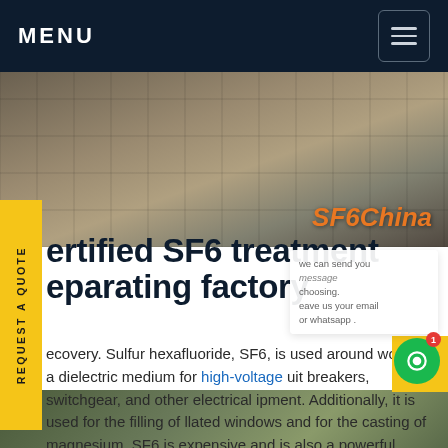MENU
[Figure (photo): Stone/brick tile pavement photographed from above, hero image with SF6China brand overlay]
ertified SF6 treatmenteparating factory
ecovery. Sulfur hexafluoride, SF6, is used around world as a dielectric medium for high-voltage uit breakers, switchgear, and other electrical ipment. Additionally, it is used for the filling of llated windows and for the casting of magnesium. SF6 is expensive and is also a powerful green house gas (20,000 times more potent than CO2).Get p
[Figure (photo): Bottom strip showing industrial equipment/factory scene]